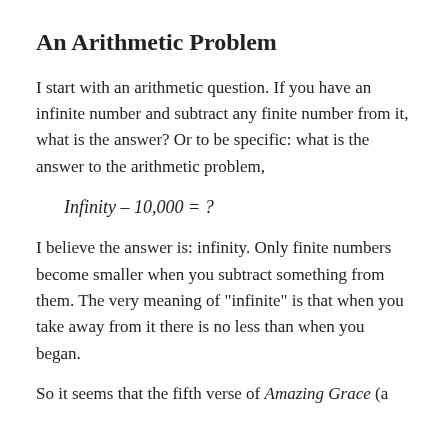An Arithmetic Problem
I start with an arithmetic question. If you have an infinite number and subtract any finite number from it, what is the answer? Or to be specific: what is the answer to the arithmetic problem,
I believe the answer is: infinity. Only finite numbers become smaller when you subtract something from them. The very meaning of "infinite" is that when you take away from it there is no less than when you began.
So it seems that the fifth verse of Amazing Grace (a